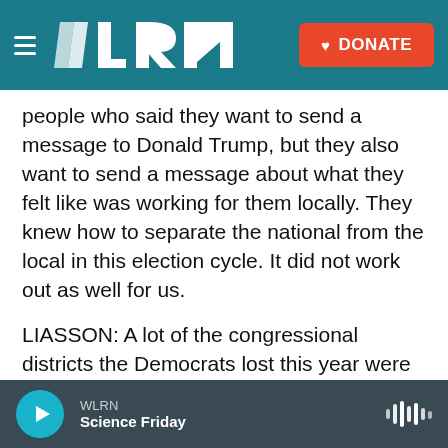WLRN — DONATE
people who said they want to send a message to Donald Trump, but they also want to send a message about what they felt like was working for them locally. They knew how to separate the national from the local in this election cycle. It did not work out as well for us.
LIASSON: A lot of the congressional districts the Democrats lost this year were districts Trump won, but that's not the whole story. Democrats also lost eight congressional districts where Biden won.
CHUCK ROCHA: So let me tell your listeners this -
WLRN — Science Friday